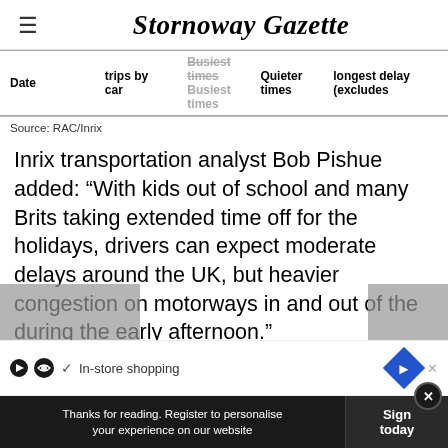Stornoway Gazette
| Date | trips by car | Busiest times | Quieter times | longest delay (excludes |
| --- | --- | --- | --- | --- |
Source: RAC/Inrix
Inrix transportation analyst Bob Pishue added: “With kids out of school and many Brits taking extended time off for the holidays, drivers can expect moderate delays around the UK, but heavier congestion on motorways in and out of the cities. Leaving later in the day is recommended to help avoid the worst of the traffic during the early afternoon.”
Thanks for reading. Register to personalise your experience on our website
Sign today